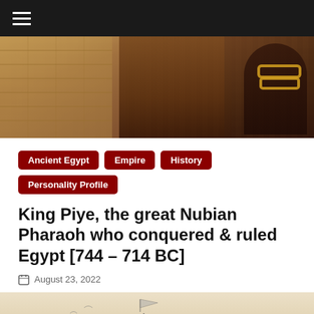≡
[Figure (photo): Hero image showing ancient African/Egyptian scene with a person in leopard skin garment wearing gold bangles, standing near mud-brick buildings]
Ancient Egypt   Empire   History   Personality Profile
King Piye, the great Nubian Pharaoh who conquered & ruled Egypt [744 – 714 BC]
August 23, 2022
[Figure (illustration): Sketch/illustration of a warrior on horseback in battle, drawn in black ink on light background, with banners and trees in background]